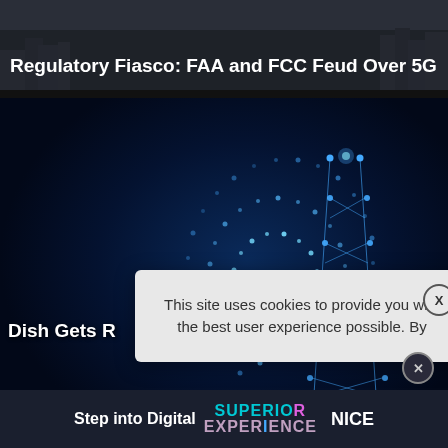Regulatory Fiasco: FAA and FCC Feud Over 5G
[Figure (illustration): Dark digital illustration of a 5G wireless tower made of glowing blue dots and lines with WiFi-style signal arcs, on dark blue background]
Dish Gets R...
This site uses cookies to provide you with the best user experience possible. By
[Figure (logo): Advertisement banner: Step into Digital SUPERIENCE NICE logo]